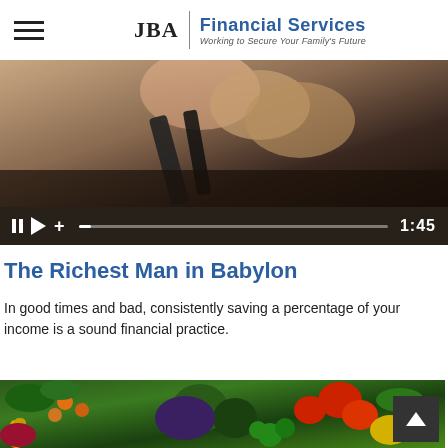JBA | Financial Services — Working to Secure Your Family's Future
[Figure (screenshot): Video player showing a close-up of hands with a financial or media device, with playback controls showing pause, play, plus, progress bar, and timestamp 1:45]
The Richest Man in Babylon
In good times and bad, consistently saving a percentage of your income is a sound financial practice.
[Figure (photo): Colorful overhead photo of assorted fresh vegetables including artichokes, red peppers, corn, leafy greens, cherry tomatoes, broccoli, and other produce]